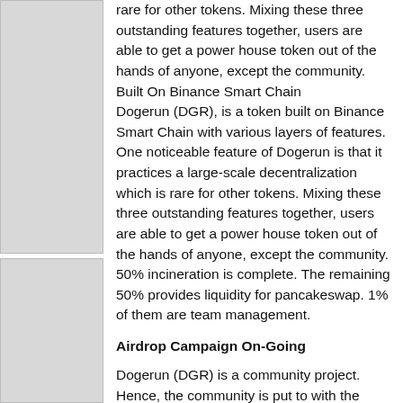rare for other tokens. Mixing these three outstanding features together, users are able to get a power house token out of the hands of anyone, except the community.
Built On Binance Smart Chain
Dogerun (DGR), is a token built on Binance Smart Chain with various layers of features. One noticeable feature of Dogerun is that it practices a large-scale decentralization which is rare for other tokens. Mixing these three outstanding features together, users are able to get a power house token out of the hands of anyone, except the community. 50% incineration is complete. The remaining 50% provides liquidity for pancakeswap. 1% of them are team management.
Airdrop Campaign On-Going
Dogerun (DGR) is a community project. Hence, the community is put to with the responsibility of rising